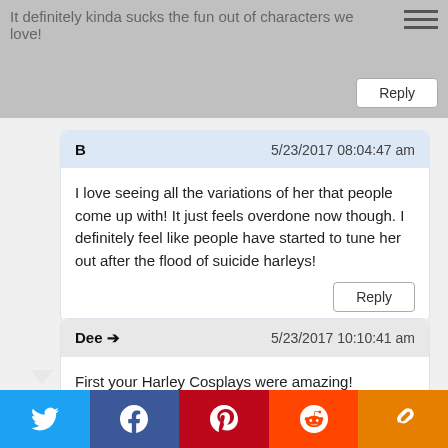It definitely kinda sucks the fun out of characters we love!
B
5/23/2017 08:04:47 am
I love seeing all the variations of her that people come up with! It just feels overdone now though. I definitely feel like people have started to tune her out after the flood of suicide harleys!
Dee ➜
5/23/2017 10:10:41 am
First your Harley Cosplays were amazing!
That Harley is become like the Slave Leia for a few years ago.
Also I hate that everyone wears the tee all the time. Learn more about the character than that version of her!